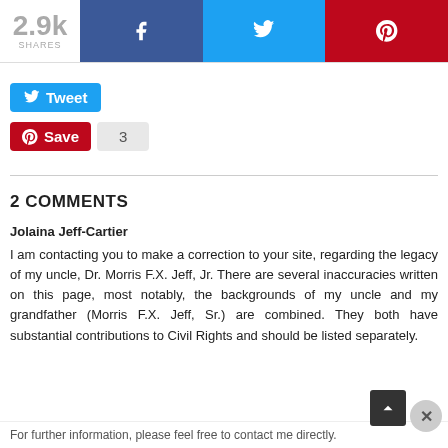[Figure (screenshot): Social share bar with 2.9k shares count, Facebook (blue), Twitter (light blue), and Pinterest (red) buttons]
[Figure (screenshot): Tweet button (Twitter blue) and Save/Pinterest button with count of 3]
2 COMMENTS
Jolaina Jeff-Cartier
I am contacting you to make a correction to your site, regarding the legacy of my uncle, Dr. Morris F.X. Jeff, Jr. There are several inaccuracies written on this page, most notably, the backgrounds of my uncle and my grandfather (Morris F.X. Jeff, Sr.) are combined. They both have substantial contributions to Civil Rights and should be listed separately.
For further information, please feel free to contact me directly.